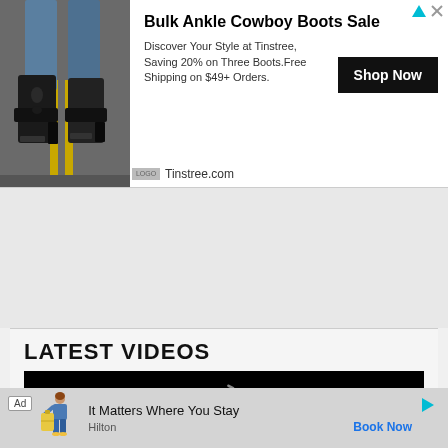[Figure (screenshot): Advertisement banner: Bulk Ankle Cowboy Boots Sale from Tinstree.com. Shows boots image on left, ad title, description, and Shop Now button.]
[Figure (screenshot): Website hero image band showing a landscape/cliff aerial view with a collapse toggle button (chevron up) on the upper left, and a zigzag decorative strip at the bottom.]
LATEST VIDEOS
[Figure (screenshot): Video player area showing a black loading screen with a circular loading spinner in the center.]
[Figure (screenshot): Bottom advertisement: Hilton hotel ad. Text says 'It Matters Where You Stay' with 'Hilton' branding and 'Book Now' link. Shows a figure of a woman with luggage.]